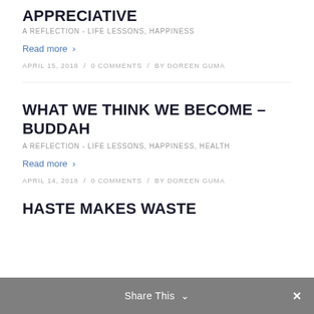APPRECIATIVE
A REFLECTION - LIFE LESSONS, HAPPINESS
Read more ›
APRIL 15, 2018 / 0 COMMENTS / BY DOREEN GUMA
WHAT WE THINK WE BECOME – BUDDAH
A REFLECTION - LIFE LESSONS, HAPPINESS, HEALTH
Read more ›
APRIL 14, 2018 / 0 COMMENTS / BY DOREEN GUMA
HASTE MAKES WASTE
Share This ∨  ✕